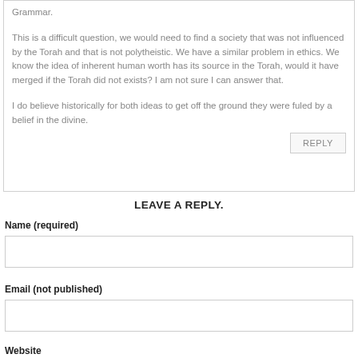Grammar.
This is a difficult question, we would need to find a society that was not influenced by the Torah and that is not polytheistic. We have a similar problem in ethics. We know the idea of inherent human worth has its source in the Torah, would it have merged if the Torah did not exists? I am not sure I can answer that.
I do believe historically for both ideas to get off the ground they were fuled by a belief in the divine.
REPLY
LEAVE A REPLY.
Name (required)
Email (not published)
Website